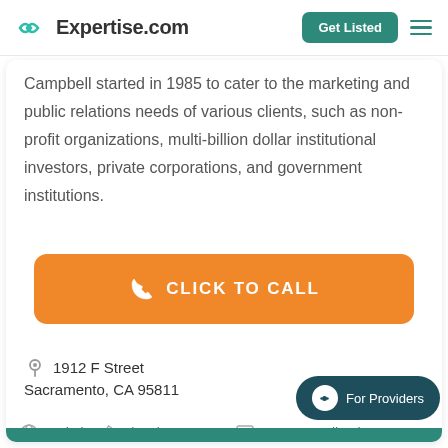Expertise.com — Get Listed
Campbell started in 1985 to cater to the marketing and public relations needs of various clients, such as non-profit organizations, multi-billion dollar institutional investors, private corporations, and government institutions.
[Figure (other): Orange 'CLICK TO CALL' button with phone icon]
1912 F Street
Sacramento, CA 95811
Website   (916) 446-4744   Leave Feedback
For Providers